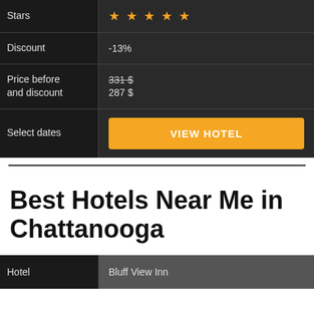|  |  |
| --- | --- |
| Stars | ★★★★★ |
| Discount | -13% |
| Price before and discount | 331 $
287 $ |
| Select dates | VIEW HOTEL |
Best Hotels Near Me in Chattanooga
| Hotel |  |
| --- | --- |
| Hotel | Bluff View Inn |